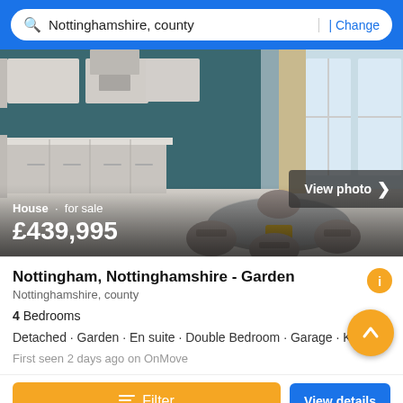Nottinghamshire, county | Change
[Figure (photo): Interior photo of a modern kitchen-dining area with grey cabinetry, dark teal walls, large windows, and a round glass dining table with gold-base legs surrounded by grey velvet chairs.]
House · for sale
£439,995
View photo ›
Nottingham, Nottinghamshire - Garden
Nottinghamshire, county
4 Bedrooms
Detached · Garden · En suite · Double Bedroom · Garage · Ki...
First seen 2 days ago on OnMove
Filter
View details